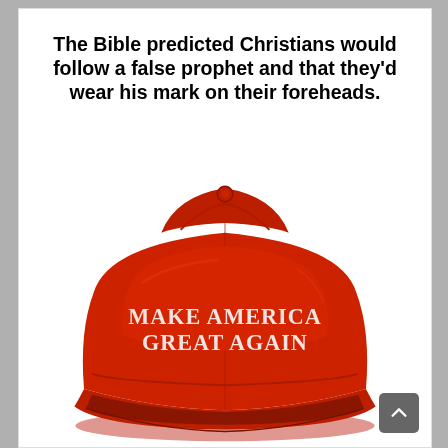The Bible predicted Christians would follow a false prophet and that they'd wear his mark on their foreheads.
[Figure (photo): A red 'Make America Great Again' baseball cap on a white background, with white embroidered text reading MAKE AMERICA GREAT AGAIN on the front panel.]